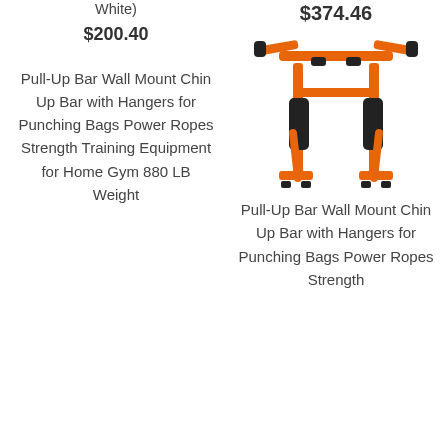White)
$200.40
$374.46
Pull-Up Bar Wall Mount Chin Up Bar with Hangers for Punching Bags Power Ropes Strength Training Equipment for Home Gym 880 LB Weight
[Figure (photo): Orange pull-up bar wall mount chin up bar with hangers, shown in product photo against white background]
Pull-Up Bar Wall Mount Chin Up Bar with Hangers for Punching Bags Power Ropes Strength